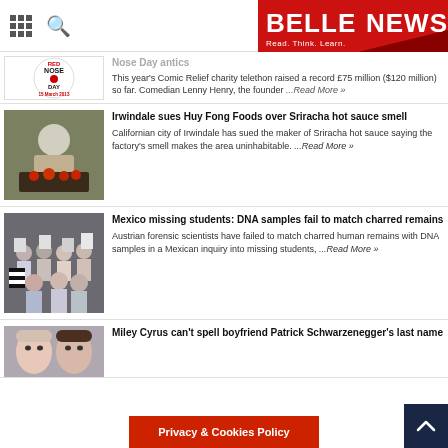BELLENEWS Read. Think. Learn.
[Figure (screenshot): Red Nose Day 15 March 2013 logo circular white badge with red nose]
Nose Day antics
This year's Comic Relief charity telethon raised a record £75 million ($120 million) so far. Comedian Lenny Henry, the founder ...Read More »
[Figure (photo): Worker in factory handling red peppers/tomatoes in industrial setting]
Irwindale sues Huy Fong Foods over Sriracha hot sauce smell
Californian city of Irwindale has sued the maker of Sriracha hot sauce saying the factory's smell makes the area uninhabitable. ...Read More »
[Figure (photo): Crowd of protesters holding signs and photos in a public demonstration]
Mexico missing students: DNA samples fail to match charred remains
Austrian forensic scientists have failed to match charred human remains with DNA samples in a Mexican inquiry into missing students, ...Read More »
[Figure (photo): Miley Cyrus and Patrick Schwarzenegger couple photo]
Miley Cyrus can't spell boyfriend Patrick Schwarzenegger's last name
Privacy & Cookies Policy